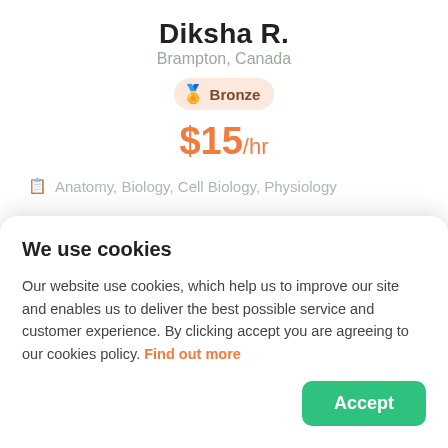Diksha R.
Brampton, Canada
Bronze
$15/hr
Anatomy, Biology, Cell Biology, Physiology
Experienced Biology tutor in Brampton
I am a Dental hygiene student. I have completed my high school diploma with science as my
We use cookies
Our website use cookies, which help us to improve our site and enables us to deliver the best possible service and customer experience. By clicking accept you are agreeing to our cookies policy. Find out more
Accept